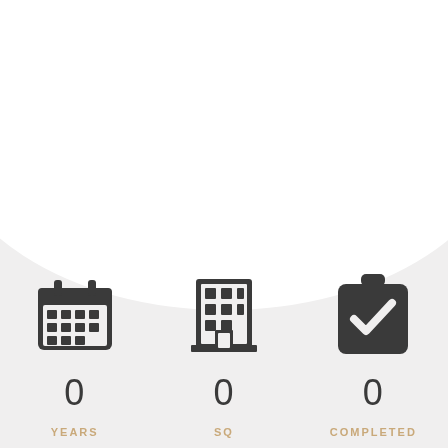[Figure (infographic): Three statistics displayed with icons: calendar icon with '0 YEARS IN BUSINESS', building icon with '0 SQ FT FACILITY', clipboard/checklist icon with '0 COMPLETED PROJECTS'. Background has a large white arc shape at the top on a light gray background.]